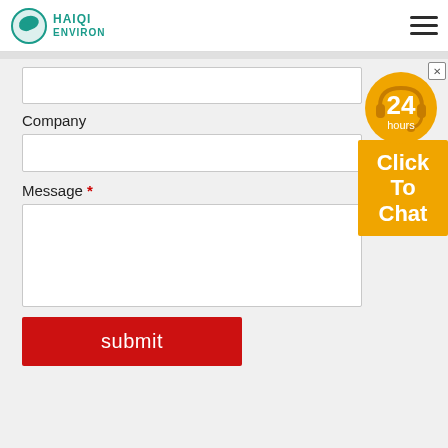[Figure (logo): Haiqi Environ company logo with teal bird/leaf icon and text HAIQI ENVIRON]
[Figure (infographic): Hamburger menu icon with three horizontal lines]
Company
Message *
[Figure (infographic): 24 hours customer support widget with headset icon and 'Click To Chat' orange button, with X close button]
submit